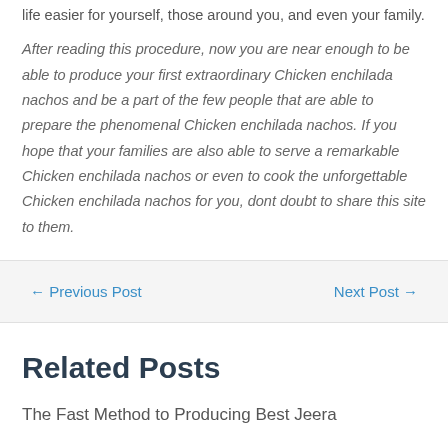life easier for yourself, those around you, and even your family.
After reading this procedure, now you are near enough to be able to produce your first extraordinary Chicken enchilada nachos and be a part of the few people that are able to prepare the phenomenal Chicken enchilada nachos. If you hope that your families are also able to serve a remarkable Chicken enchilada nachos or even to cook the unforgettable Chicken enchilada nachos for you, dont doubt to share this site to them.
← Previous Post
Next Post →
Related Posts
The Fast Method to Producing Best Jeera